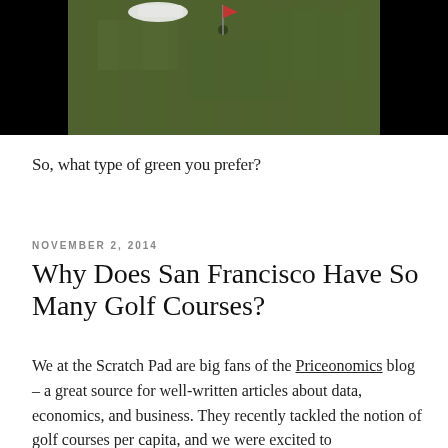[Figure (photo): Golf course green with a shoe/foot near a flag hole, center portion visible with black bars on left and right sides]
So, what type of green you prefer?
NOVEMBER 2, 2014
Why Does San Francisco Have So Many Golf Courses?
We at the Scratch Pad are big fans of the Priceonomics blog – a great source for well-written articles about data, economics, and business. They recently tackled the notion of golf courses per capita, and we were excited to